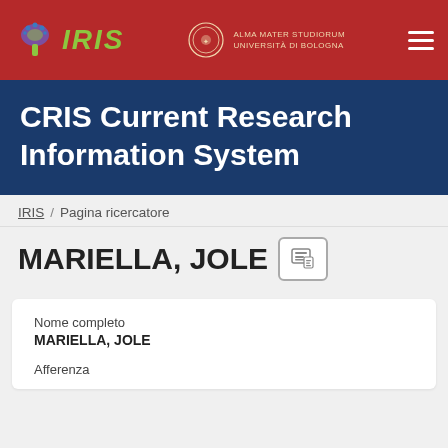[Figure (logo): IRIS logo with stylized tree/mushroom icon in purple/green and IRIS text in green italic, on red background. Alongside University of Bologna (Alma Mater Studiorum) seal and text in gold.]
CRIS Current Research Information System
IRIS / Pagina ricercatore
MARIELLA, JOLE
Nome completo
MARIELLA, JOLE
Afferenza